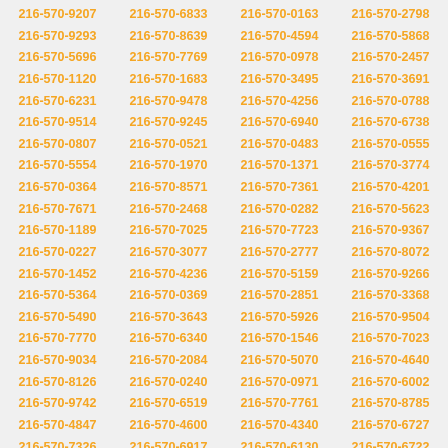216-570-9207 216-570-6833 216-570-0163 216-570-2798 216-570-9293 216-570-8639 216-570-4594 216-570-5868 216-570-5696 216-570-7769 216-570-0978 216-570-2457 216-570-1120 216-570-1683 216-570-3495 216-570-3691 216-570-6231 216-570-9478 216-570-4256 216-570-0788 216-570-9514 216-570-9245 216-570-6940 216-570-6738 216-570-0807 216-570-0521 216-570-0483 216-570-0555 216-570-5554 216-570-1970 216-570-1371 216-570-3774 216-570-0364 216-570-8571 216-570-7361 216-570-4201 216-570-7671 216-570-2468 216-570-0282 216-570-5623 216-570-1189 216-570-7025 216-570-7723 216-570-9367 216-570-0227 216-570-3077 216-570-2777 216-570-8072 216-570-1452 216-570-4236 216-570-5159 216-570-9266 216-570-5364 216-570-0369 216-570-2851 216-570-3368 216-570-5490 216-570-3643 216-570-5926 216-570-9504 216-570-7770 216-570-6340 216-570-1546 216-570-7023 216-570-9034 216-570-2084 216-570-5070 216-570-4640 216-570-8126 216-570-0240 216-570-0971 216-570-6002 216-570-9742 216-570-6519 216-570-7761 216-570-8785 216-570-4847 216-570-4600 216-570-4340 216-570-6727 216-570-7326 216-570-6917 216-570-6130 216-570-6722 216-570-3141 216-570-2225 216-570-9700 216-570-4112 216-570-5748 216-570-1220 216-570-0601 216-570-3981 216-570-6622 216-570-2424 216-570-5084 216-570-5213 216-570-3197 216-570-1282 216-570-1217 216-570-4511 216-570-0080 216-570-6343 216-570-8470 216-570-2038 216-570-0322 216-570-6862 216-570-4959 216-570-9358 216-570-9665 216-570-6179 216-570-4689 216-570-1980 216-570-6181 216-570-2415 216-570-1921 216-570-8350 216-570-5665 216-570-0455 216-570-7940 216-570-5559